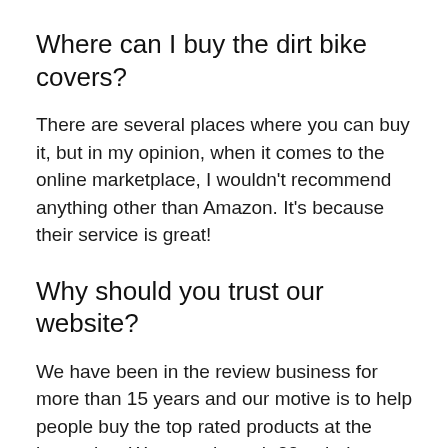Where can I buy the dirt bike covers?
There are several places where you can buy it, but in my opinion, when it comes to the online marketplace, I wouldn’t recommend anything other than Amazon. It’s because their service is great!
Why should you trust our website?
We have been in the review business for more than 15 years and our motive is to help people buy the top rated products at the best price. We went through 22 to help you find the best dirt bike covers